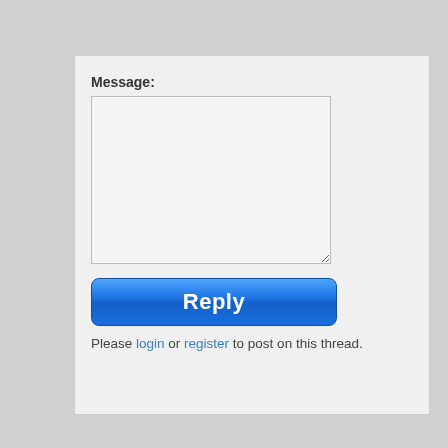Message:
[Figure (screenshot): Empty textarea input field for message entry]
[Figure (screenshot): Blue Reply button with white bold text]
Please login or register to post on this thread.